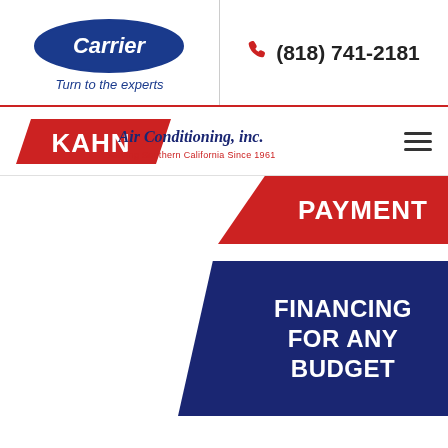[Figure (logo): Carrier logo — blue oval with 'Carrier' text and tagline 'Turn to the experts']
(818) 741-2181
[Figure (logo): Kahn Air Conditioning, Inc. logo — red trapezoid with KAHN text plus Air Conditioning, inc. script and 'Serving Southern California Since 1961']
[Figure (infographic): Red diagonal banner with text 'PAYMENT' and blue diagonal banner with text 'FINANCING FOR ANY BUDGET']